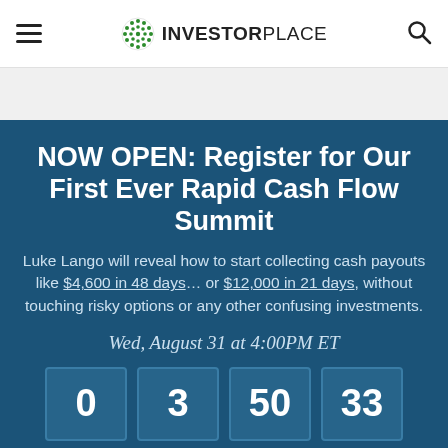INVESTORPLACE
NOW OPEN: Register for Our First Ever Rapid Cash Flow Summit
Luke Lango will reveal how to start collecting cash payouts like $4,600 in 48 days… or $12,000 in 21 days, without touching risky options or any other confusing investments.
Wed, August 31 at 4:00PM ET
0  3  50  33